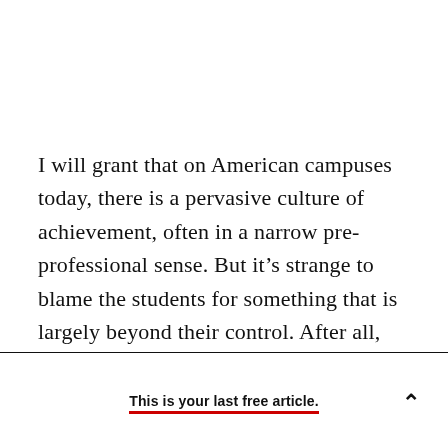I will grant that on American campuses today, there is a pervasive culture of achievement, often in a narrow pre-professional sense. But it's strange to blame the students for something that is largely beyond their control. After all, they did not devise the intense system of tests that comprise the gateway to American higher education, nor did they create the highly competitive job market in
This is your last free article.